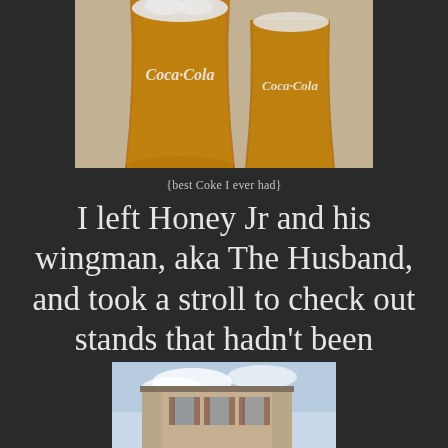[Figure (photo): Two Coca-Cola branded glasses filled with amber beer/lager on a light surface]
{best Coke I ever had}
I left Honey Jr and his wingman, aka The Husband, and took a stroll to check out stands that hadn't been abandoned...
[Figure (photo): A stone building with closed shutters under a partly cloudy sky, viewed from below]